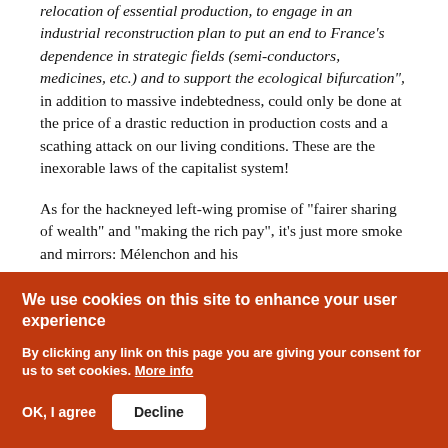relocation of essential production, to engage in an industrial reconstruction plan to put an end to France's dependence in strategic fields (semi-conductors, medicines, etc.) and to support the ecological bifurcation", in addition to massive indebtedness, could only be done at the price of a drastic reduction in production costs and a scathing attack on our living conditions. These are the inexorable laws of the capitalist system!
As for the hackneyed left-wing promise of "fairer sharing of wealth" and "making the rich pay", it's just more smoke and mirrors: Mélenchon and his
We use cookies on this site to enhance your user experience
By clicking any link on this page you are giving your consent for us to set cookies. More info
OK, I agree   Decline